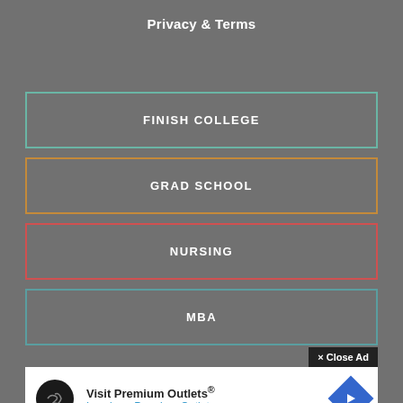Privacy & Terms
FINISH COLLEGE
GRAD SCHOOL
NURSING
MBA
× Close Ad
[Figure (infographic): Advertisement banner for Visit Premium Outlets® - Leesburg Premium Outlets with logo, blue navigation arrow icon, and small ad attribution icons]